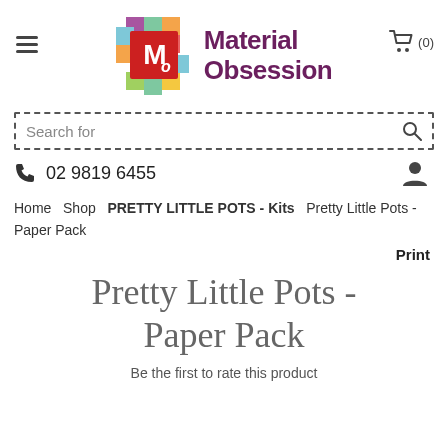[Figure (logo): Material Obsession logo — colorful patchwork squares background with red square containing white M and o letters, next to 'Material Obsession' in purple bold text]
Material Obsession — shopping cart (0)
Search for
02 9819 6455
Home  Shop  PRETTY LITTLE POTS - Kits  Pretty Little Pots - Paper Pack
Print
Pretty Little Pots - Paper Pack
Be the first to rate this product